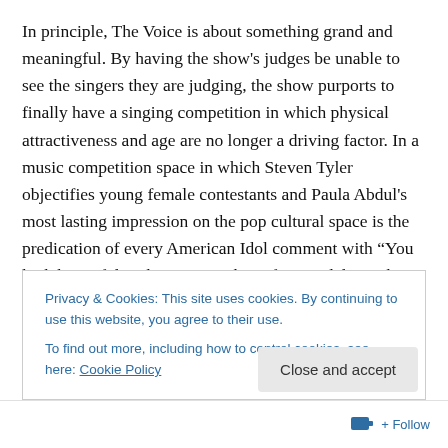In principle, The Voice is about something grand and meaningful. By having the show's judges be unable to see the singers they are judging, the show purports to finally have a singing competition in which physical attractiveness and age are no longer a driving factor. In a music competition space in which Steven Tyler objectifies young female contestants and Paula Abdul's most lasting impression on the pop cultural space is the predication of every American Idol comment with "You look beautiful," The Voice seeks to focus solely on the eponymous
Privacy & Cookies: This site uses cookies. By continuing to use this website, you agree to their use.
To find out more, including how to control cookies, see here: Cookie Policy
Close and accept